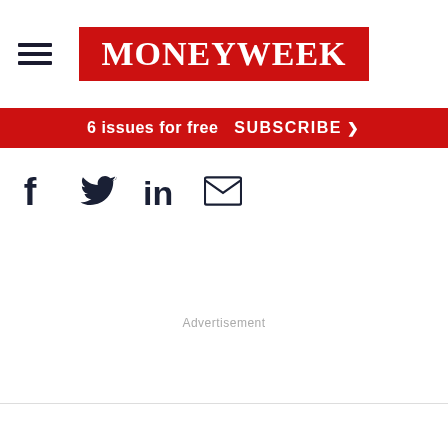[Figure (logo): MoneyWeek logo — white serif text on red background]
6 issues for free  SUBSCRIBE >
[Figure (infographic): Social share icons row: Facebook, Twitter, LinkedIn, Email]
Advertisement